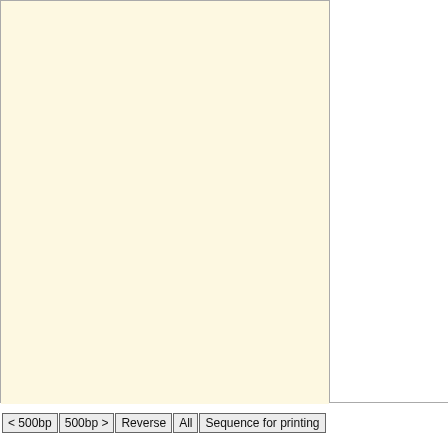[Figure (other): Empty cream/beige colored panel region at top of main display area]
TSS tag distribution(+)
[Figure (other): Empty cream/beige colored panel region for TSS tag distribution(+)]
TSS tag distribution(-)
[Figure (other): Empty cream/beige colored panel region for TSS tag distribution(-)]
< 500bp
500bp >
Reverse
All
Sequence for printing